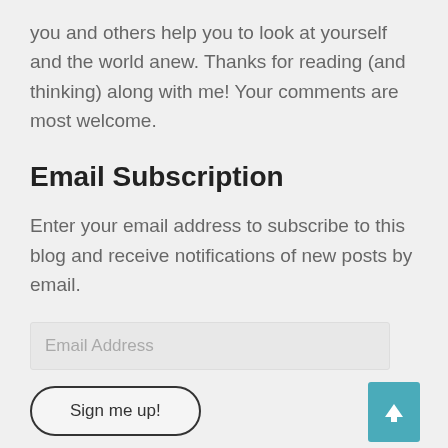you and others help you to look at yourself and the world anew. Thanks for reading (and thinking) along with me! Your comments are most welcome.
Email Subscription
Enter your email address to subscribe to this blog and receive notifications of new posts by email.
Email Address
Sign me up!
Blog Stats